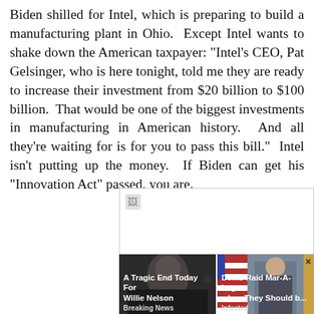Biden shilled for Intel, which is preparing to build a manufacturing plant in Ohio.  Except Intel wants to shake down the American taxpayer: "Intel's CEO, Pat Gelsinger, who is here tonight, told me they are ready to increase their investment from $20 billion to $100 billion.  That would be one of the biggest investments in manufacturing in American history.  And all they're waiting for is for you to pass this bill."  Intel isn't putting up the money.  If Biden can get his "Innovation Act" passed, you are.
[Figure (screenshot): A broken image placeholder (white box with broken image icon) above a row of two advertisement thumbnails. Left ad: dark photo of elderly man (Willie Nelson) with headline 'A Tragic End Today For Willie Nelson' and source 'Breaking News'. Right ad: photo of man in suit (Trump) with US flag, headline 'Dems Raid Mar-A-Lago when They Should b...' and source 'Infected'. A close (×) button appears in top-right of right ad.]